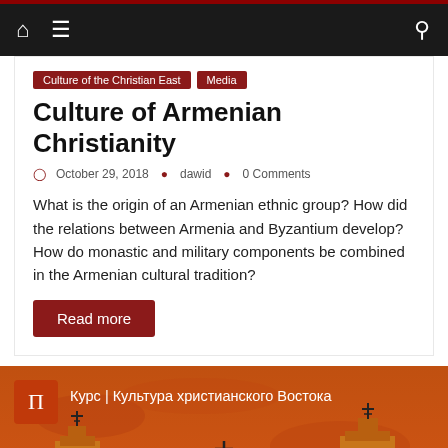Navigation bar with home, menu, and search icons
Culture of the Christian East
Media
Culture of Armenian Christianity
October 29, 2018   dawid   0 Comments
What is the origin of an Armenian ethnic group? How did the relations between Armenia and Byzantium develop? How do monastic and military components be combined in the Armenian cultural tradition?
Read more
[Figure (screenshot): Video thumbnail with orange/red background showing two church towers with crosses and Russian text 'Курс | Культура христианского Востока' with a pi symbol logo and play button]